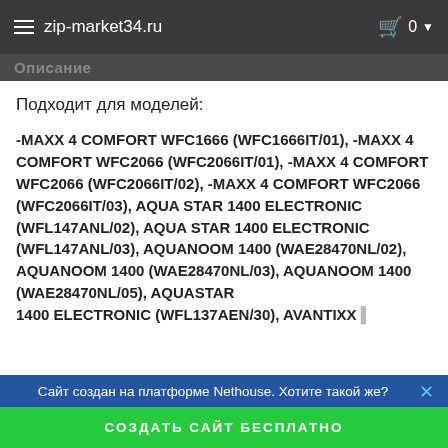zip-market34.ru
Описание
Подходит для моделей:
-MAXX 4 COMFORT WFC1666 (WFC1666IT/01), -MAXX 4 COMFORT WFC2066 (WFC2066IT/01), -MAXX 4 COMFORT WFC2066 (WFC2066IT/02), -MAXX 4 COMFORT WFC2066 (WFC2066IT/03), AQUA STAR 1400 ELECTRONIC (WFL147ANL/02), AQUA STAR 1400 ELECTRONIC (WFL147ANL/03), AQUANOOM 1400 (WAE28470NL/02), AQUANOOM 1400 (WAE28470NL/03), AQUANOOM 1400 (WAE28470NL/05), AQUASTAR 1400 ELECTRONIC (WFL137A EN/30), AVANTIXX…
Сайт создан на платформе Nethouse. Хотите такой же?  СОЗДАТЬ САЙТ БЕСПЛАТНО